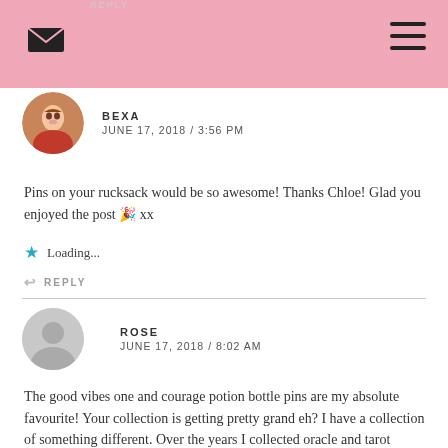REPLY
BEXA
JUNE 17, 2018 / 3:56 PM
Pins on your rucksack would be so awesome! Thanks Chloe! Glad you enjoyed the post 🎉 xx
Loading...
REPLY
ROSE
JUNE 17, 2018 / 8:02 AM
The good vibes one and courage potion bottle pins are my absolute favourite! Your collection is getting pretty grand eh? I have a collection of something different. Over the years I collected oracle and tarot cards. I just love the artworks on them. Feeling I should use them more though ^^